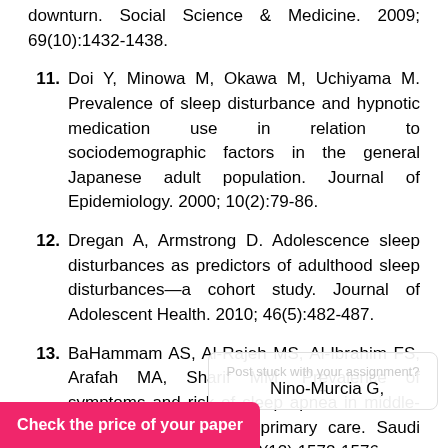downturn. Social Science & Medicine. 2009; 69(10):1432-1438.
11. Doi Y, Minowa M, Okawa M, Uchiyama M. Prevalence of sleep disturbance and hypnotic medication use in relation to sociodemographic factors in the general Japanese adult population. Journal of Epidemiology. 2000; 10(2):79-86.
12. Dregan A, Armstrong D. Adolescence sleep disturbances as predictors of adulthood sleep disturbances—a cohort study. Journal of Adolescent Health. 2010; 46(5):482-487.
13. BaHammam AS, Al-Rajeh MS, Al-Ibrahim FS, Arafah MA, Sharif MM. Prevalence of symptoms and risk of sleep apnea in middle-aged Saudi women in primary care. Saudi Medical Journal. 2009; 30(12):1572-1576.
Nino-Murcia G,